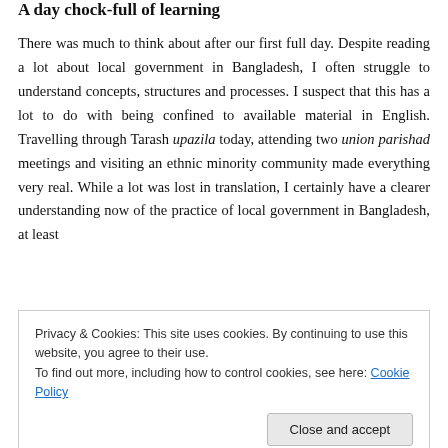A day chock-full of learning
There was much to think about after our first full day. Despite reading a lot about local government in Bangladesh, I often struggle to understand concepts, structures and processes. I suspect that this has a lot to do with being confined to available material in English. Travelling through Tarash upazila today, attending two union parishad meetings and visiting an ethnic minority community made everything very real. While a lot was lost in translation, I certainly have a clearer understanding now of the practice of local government in Bangladesh, at least
Privacy & Cookies: This site uses cookies. By continuing to use this website, you agree to their use.
To find out more, including how to control cookies, see here: Cookie Policy
breakfast of khichuri (rice and lentils) and omelettes. I sat